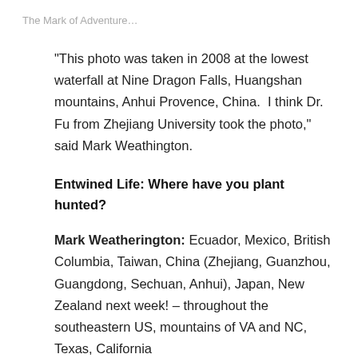The Mark of Adventure…
“This photo was taken in 2008 at the lowest waterfall at Nine Dragon Falls, Huangshan mountains, Anhui Provence, China.  I think Dr. Fu from Zhejiang University took the photo,” said Mark Weathington.
Entwined Life: Where have you plant hunted?
Mark Weatherington: Ecuador, Mexico, British Columbia, Taiwan, China (Zhejiang, Guanzhou, Guangdong, Sechuan, Anhui), Japan, New Zealand next week! – throughout the southeastern US, mountains of VA and NC, Texas, California